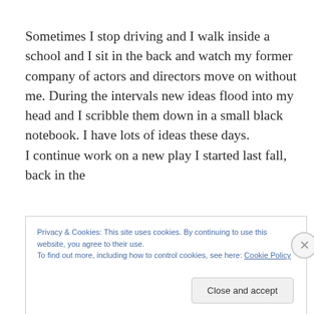Sometimes I stop driving and I walk inside a school and I sit in the back and watch my former company of actors and directors move on without me. During the intervals new ideas flood into my head and I scribble them down in a small black notebook. I have lots of ideas these days.
I continue work on a new play I started last fall, back in the
Privacy & Cookies: This site uses cookies. By continuing to use this website, you agree to their use.
To find out more, including how to control cookies, see here: Cookie Policy
Close and accept